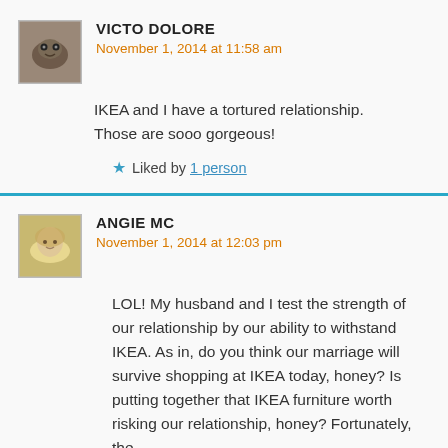[Figure (photo): Avatar photo of Victo Dolore — a small brownish frog/toad image]
VICTO DOLORE
November 1, 2014 at 11:58 am
IKEA and I have a tortured relationship. Those are sooo gorgeous!
★ Liked by 1 person
[Figure (photo): Avatar photo of Angie MC — a woman with light hair smiling]
ANGIE MC
November 1, 2014 at 12:03 pm
LOL! My husband and I test the strength of our relationship by our ability to withstand IKEA. As in, do you think our marriage will survive shopping at IKEA today, honey? Is putting together that IKEA furniture worth risking our relationship, honey? Fortunately, the